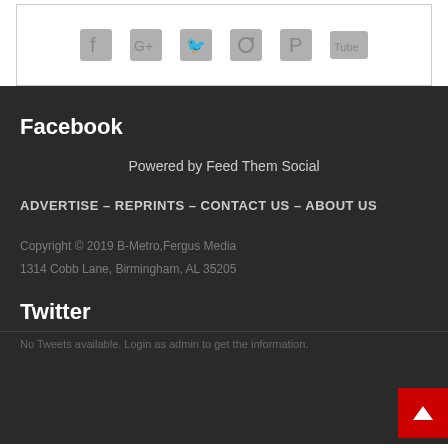[Figure (illustration): Social media icons row: Facebook, Google+, Twitter, Instagram, Pinterest, YouTube on white background with border]
Facebook
Powered by Feed Them Social
ADVERTISE – REPRINTS – CONTACT US – ABOUT US
Copyright © 2019 B-Metro,Fergus Media
1314 Cobb Lane, Birmingham, AL 35205
Twitter
No Tweets available. Login as admin to get the information.